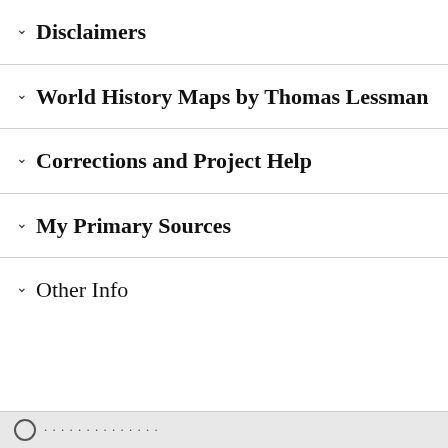Disclaimers
World History Maps by Thomas Lessman
Corrections and Project Help
My Primary Sources
Other Info